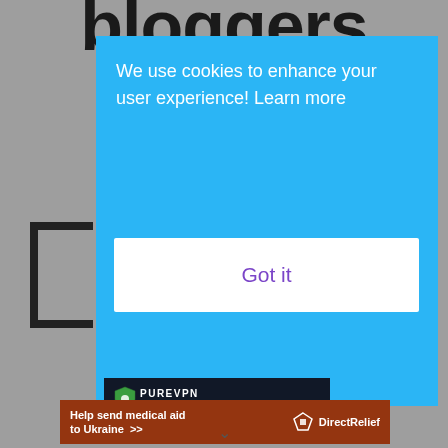bloggers
We use cookies to enhance your user experience!  Learn more
Got it
[Figure (screenshot): PureVPN advertisement showing 'BEST VPN SERVICE' text on dark background with PureVPN shield logo]
[Figure (infographic): Direct Relief banner: 'Help send medical aid to Ukraine >>' with Direct Relief logo on orange-brown background]